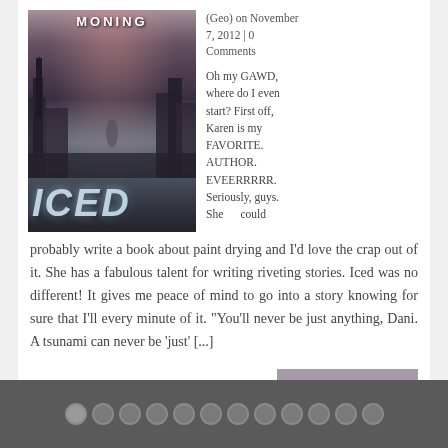[Figure (photo): Book cover of 'Iced' by Karen Marie Moning — dark urban fantasy cover showing a figure on a desolate street with gothic architecture, dark sky with pink/red clouds, and large icy 'ICED' lettering at the bottom]
(Geo) on November 7, 2012 | 0 Comments
Oh my GAWD, where do I even start? First off, Karen is my FAVORITE. AUTHOR. EVEERRRRR. Seriously, guys. She could probably write a book about paint drying and I'd love the crap out of it. She has a fabulous talent for writing riveting stories. Iced was no different! It gives me peace of mind to go into a story knowing for sure that I'll every minute of it. "You'll never be just anything, Dani. A tsunami can never be 'just' [...]
READ MORE »